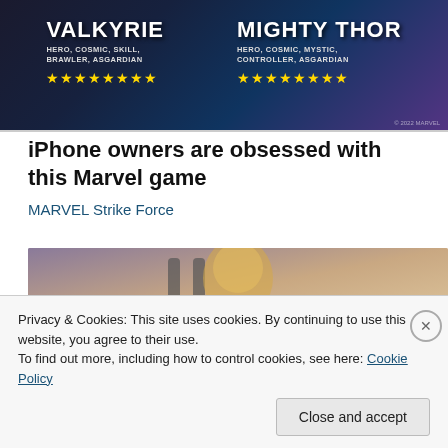[Figure (illustration): Marvel Strike Force game advertisement showing two characters: Valkyrie (Hero, Cosmic, Skill, Brawler, Asgardian) with 8 gold stars, and Mighty Thor (Hero, Cosmic, Mystic, Controller, Asgardian) with 8 gold stars, on a dark fantasy background]
iPhone owners are obsessed with this Marvel game
MARVEL Strike Force
[Figure (photo): Photo of a blonde woman near luggage/handles]
Privacy & Cookies: This site uses cookies. By continuing to use this website, you agree to their use.
To find out more, including how to control cookies, see here: Cookie Policy
Close and accept